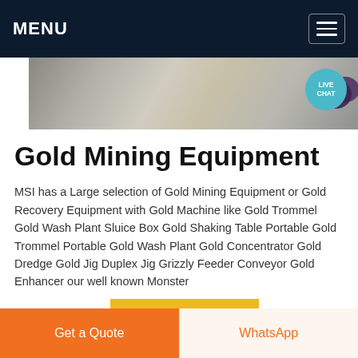MENU
[Figure (photo): Aerial or close-up photo of a rocky mining site/landscape in grayscale tones with a LIVE CHAT bubble in the top-right corner]
Gold Mining Equipment
MSI has a Large selection of Gold Mining Equipment or Gold Recovery Equipment with Gold Machine like Gold Trommel Gold Wash Plant Sluice Box Gold Shaking Table Portable Gold Trommel Portable Gold Wash Plant Gold Concentrator Gold Dredge Gold Jig Duplex Jig Grizzly Feeder Conveyor Gold Enhancer our well known Monster Red and Big Red
Get price
Get a Quote
WhatsApp